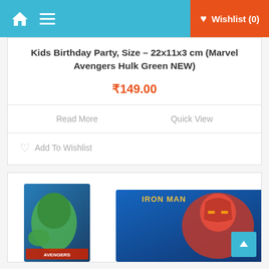Home | Menu | Wishlist (0)
Kids Birthday Party, Size – 22x11x3 cm (Marvel Avengers Hulk Green NEW)
₹149.00
Read More
Quick View
Add To Wishlist
[Figure (photo): Marvel Avengers birthday cards - Hulk green card and Iron Man card product images]